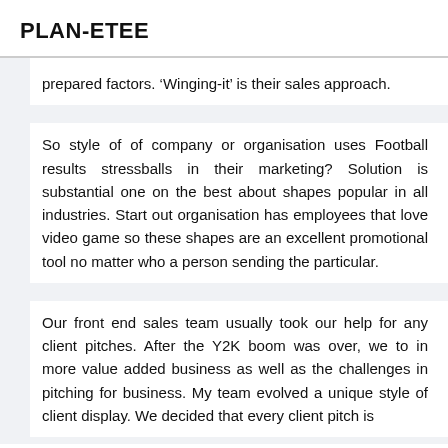PLAN-ETEE
prepared factors. ‘Winging-it’ is their sales approach.
So style of of company or organisation uses Football results stressballs in their marketing? Solution is substantial one on the best about shapes popular in all industries. Start out organisation has employees that love video game so these shapes are an excellent promotional tool no matter who a person sending the particular.
Our front end sales team usually took our help for any client pitches. After the Y2K boom was over, we to in more value added business as well as the challenges in pitching for business. My team evolved a unique style of client display. We decided that every client pitch is